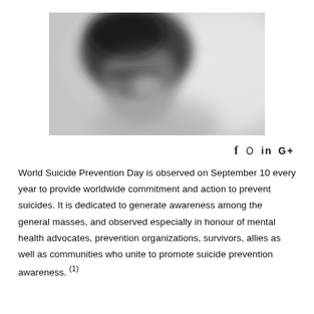[Figure (photo): A blurred black and white close-up photograph of a person's face, showing a moody, obscured expression]
f  𝓎  in  G+
World Suicide Prevention Day is observed on September 10 every year to provide worldwide commitment and action to prevent suicides. It is dedicated to generate awareness among the general masses, and observed especially in honour of mental health advocates, prevention organizations, survivors, allies as well as communities who unite to promote suicide prevention awareness. (1)